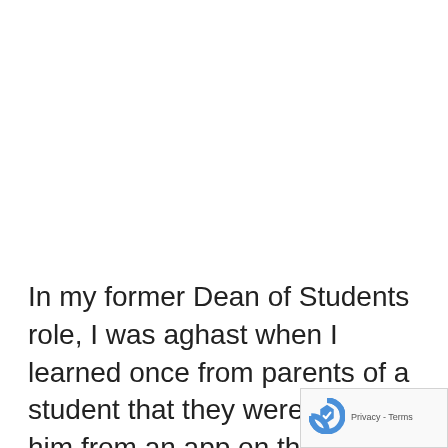In my former Dean of Students role, I was aghast when I learned once from parents of a student that they were tracking him from an app on their cellphone.

Though he knew of it, this struck me as a h
[Figure (logo): reCAPTCHA badge with Privacy - Terms text in bottom right corner]